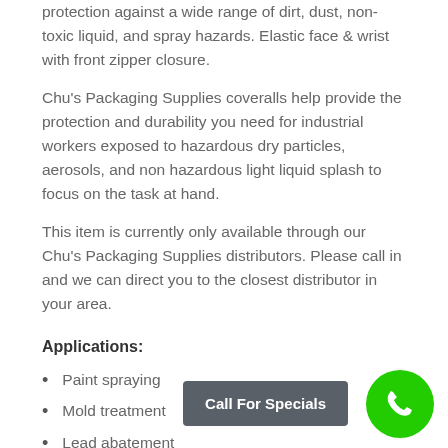protection against a wide range of dirt, dust, non-toxic liquid, and spray hazards. Elastic face & wrist with front zipper closure.
Chu's Packaging Supplies coveralls help provide the protection and durability you need for industrial workers exposed to hazardous dry particles, aerosols, and non hazardous light liquid splash to focus on the task at hand.
This item is currently only available through our Chu's Packaging Supplies distributors. Please call in and we can direct you to the closest distributor in your area.
Applications:
Paint spraying
Mold treatment
Lead abatement
Asbestos abatement